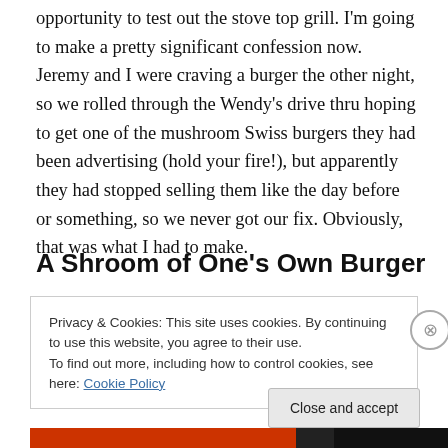opportunity to test out the stove top grill. I'm going to make a pretty significant confession now. Jeremy and I were craving a burger the other night, so we rolled through the Wendy's drive thru hoping to get one of the mushroom Swiss burgers they had been advertising (hold your fire!), but apparently they had stopped selling them like the day before or something, so we never got our fix. Obviously, that was what I had to make.
A Shroom of One's Own Burger
Privacy & Cookies: This site uses cookies. By continuing to use this website, you agree to their use.
To find out more, including how to control cookies, see here: Cookie Policy